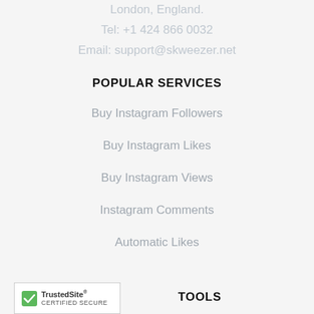London, England.
Tel: +1 424 866 0032
Email: support@skweezer.net
POPULAR SERVICES
Buy Instagram Followers
Buy Instagram Likes
Buy Instagram Views
Instagram Comments
Automatic Likes
[Figure (logo): TrustedSite Certified Secure badge with green checkmark]
TOOLS